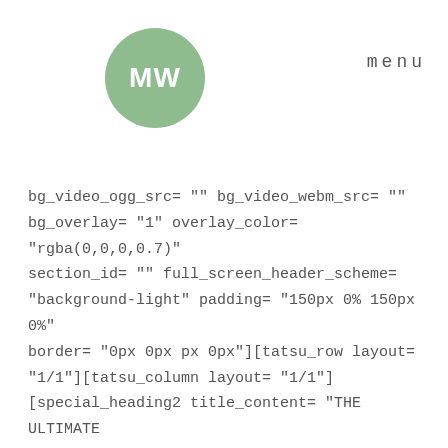[Figure (logo): Circular green logo with white 'MW' text]
menu
bg_video_ogg_src= "" bg_video_webm_src= "" bg_overlay= "1" overlay_color= "rgba(0,0,0,0.7)" section_id= "" full_screen_header_scheme= "background-light" padding= "150px 0% 150px 0%" border= "0px 0px px 0px"][tatsu_row layout= "1/1"][tatsu_column layout= "1/1"] [special_heading2 title_content= "THE ULTIMATE WORDPRESS THEME" h_tag= "h3" title_color= "#ffffff" border_color= "#ffffff" border_thickness= "5" title_alignment= "center" animation_type=